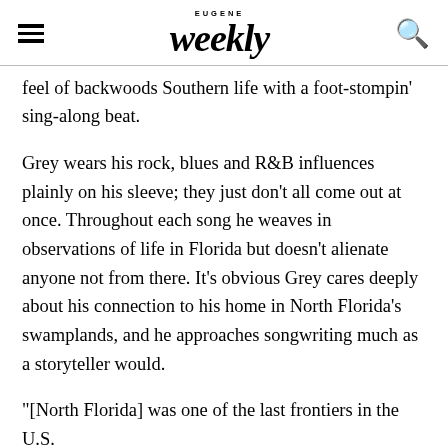EUGENE Weekly [logo with hamburger menu and search icon]
feel of backwoods Southern life with a foot-stompin' sing-along beat.
Grey wears his rock, blues and R&B influences plainly on his sleeve; they just don't all come out at once. Throughout each song he weaves in observations of life in Florida but doesn't alienate anyone not from there. It's obvious Grey cares deeply about his connection to his home in North Florida's swamplands, and he approaches songwriting much as a storyteller would.
“[North Florida] was one of the last frontiers in the U.S.